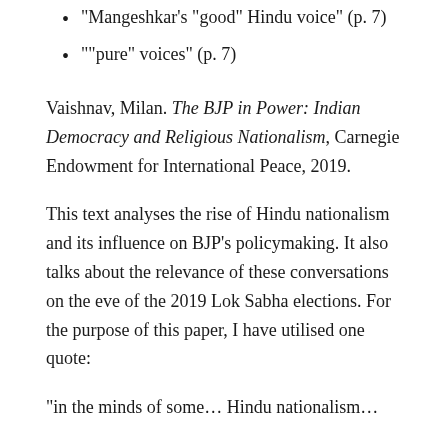“Mangeshkar’s “good” Hindu voice” (p. 7)
““pure” voices” (p. 7)
Vaishnav, Milan. The BJP in Power: Indian Democracy and Religious Nationalism, Carnegie Endowment for International Peace, 2019.
This text analyses the rise of Hindu nationalism and its influence on BJP’s policymaking. It also talks about the relevance of these conversations on the eve of the 2019 Lok Sabha elections. For the purpose of this paper, I have utilised one quote:
“in the minds of some… Hindu nationalism…